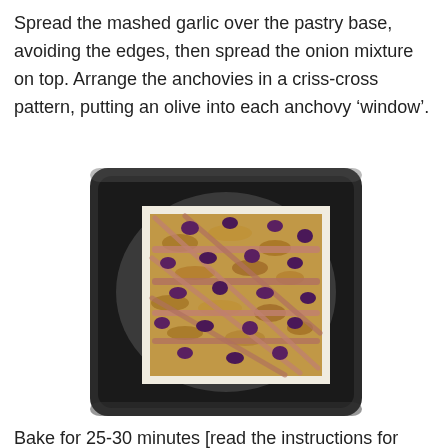Spread the mashed garlic over the pastry base, avoiding the edges, then spread the onion mixture on top. Arrange the anchovies in a criss-cross pattern, putting an olive into each anchovy ‘window’.
[Figure (photo): A baking tray with a pastry base topped with onion mixture, anchovies arranged in a criss-cross pattern, and black olives placed in each 'window' between the anchovies.]
Bake for 25-30 minutes [read the instructions for your pastry, and check earlier if required].